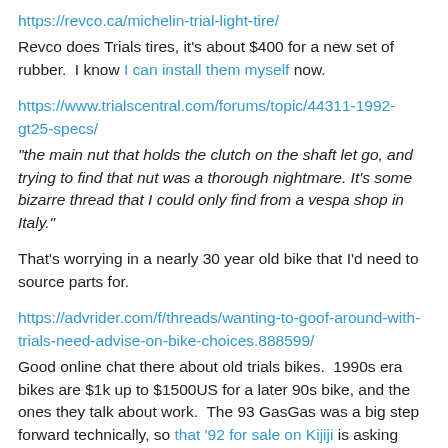https://revco.ca/michelin-trial-light-tire/
Revco does Trials tires, it's about $400 for a new set of rubber.  I know I can install them myself now.
https://www.trialscentral.com/forums/topic/44311-1992-gt25-specs/
"the main nut that holds the clutch on the shaft let go, and trying to find that nut was a thorough nightmare. It's some bizarre thread that I could only find from a vespa shop in Italy."
That's worrying in a nearly 30 year old bike that I'd need to source parts for.
https://advrider.com/f/threads/wanting-to-goof-around-with-trials-need-advise-on-bike-choices.888599/
Good online chat there about old trials bikes.  1990s era bikes are $1k up to $1500US for a later 90s bike, and the ones they talk about work.  The 93 GasGas was a big step forward technically, so that '92 for sale on Kijiji is asking premium for a bike that doesn't work that isn't particularly desirable.